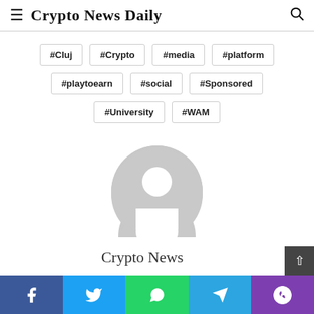Crypto News Daily
#Cluj
#Crypto
#media
#platform
#playtoearn
#social
#Sponsored
#University
#WAM
[Figure (illustration): Grey placeholder avatar/profile icon — circular silhouette of a person]
Crypto News